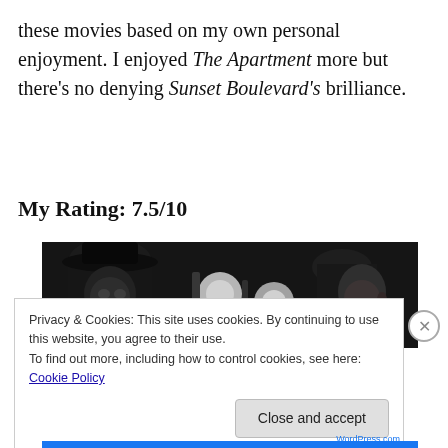these movies based on my own personal enjoyment. I enjoyed The Apartment more but there's no denying Sunset Boulevard's brilliance.
My Rating: 7.5/10
[Figure (photo): Black and white film scene showing people with lights, likely from Sunset Boulevard or The Apartment]
Privacy & Cookies: This site uses cookies. By continuing to use this website, you agree to their use.
To find out more, including how to control cookies, see here: Cookie Policy
Close and accept